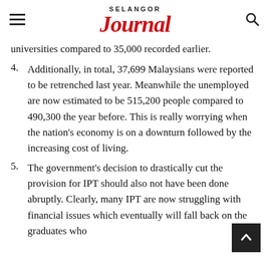SELANGOR JOURNAL
universities compared to 35,000 recorded earlier.
4. Additionally, in total, 37,699 Malaysians were reported to be retrenched last year. Meanwhile the unemployed are now estimated to be 515,200 people compared to 490,300 the year before. This is really worrying when the nation's economy is on a downturn followed by the increasing cost of living.
5. The government's decision to drastically cut the provision for IPT should also not have been done abruptly. Clearly, many IPT are now struggling with financial issues which eventually will fall back on the graduates who